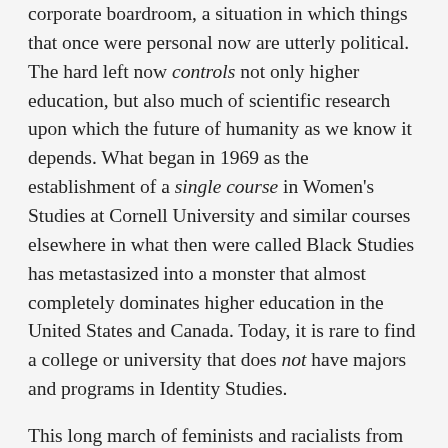corporate boardroom, a situation in which things that once were personal now are utterly political. The hard left now controls not only higher education, but also much of scientific research upon which the future of humanity as we know it depends. What began in 1969 as the establishment of a single course in Women's Studies at Cornell University and similar courses elsewhere in what then were called Black Studies has metastasized into a monster that almost completely dominates higher education in the United States and Canada. Today, it is rare to find a college or university that does not have majors and programs in Identity Studies.
This long march of feminists and racialists from near-obscurity to absolute-dominance is compared to the rise of Snopes family created by author William Faulkner in his 1940 novel, The Hamlet. In Faulkner's book, the Snopeses move into the Mississippi community of Frenchman's Bend and slowly take over nearly all aspects of life. Even though the locals seem to understand what is taking place, they are seemingly helpless